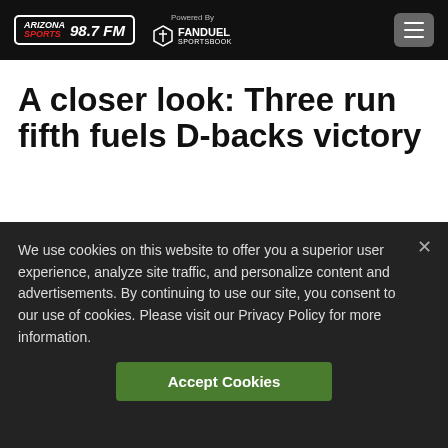Arizona Sports 98.7 FM — Powered By FanDuel Sportsbook
A closer look: Three run fifth fuels D-backs victory
We use cookies on this website to offer you a superior user experience, analyze site traffic, and personalize content and advertisements. By continuing to use our site, you consent to our use of cookies. Please visit our Privacy Policy for more information.